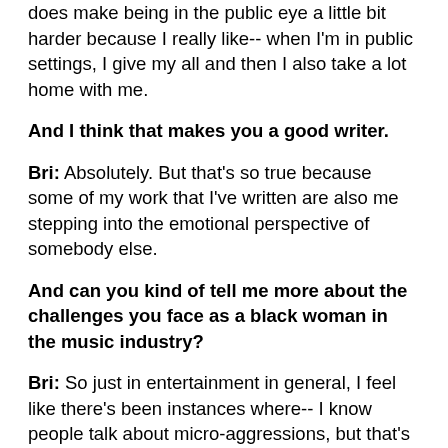does make being in the public eye a little bit harder because I really like-- when I'm in public settings, I give my all and then I also take a lot home with me.
And I think that makes you a good writer.
Bri: Absolutely. But that's so true because some of my work that I've written are also me stepping into the emotional perspective of somebody else.
And can you kind of tell me more about the challenges you face as a black woman in the music industry?
Bri: So just in entertainment in general, I feel like there's been instances where-- I know people talk about micro-aggressions, but that's something that I did a huge video on because I actually asked some of my friends who are white and from different...